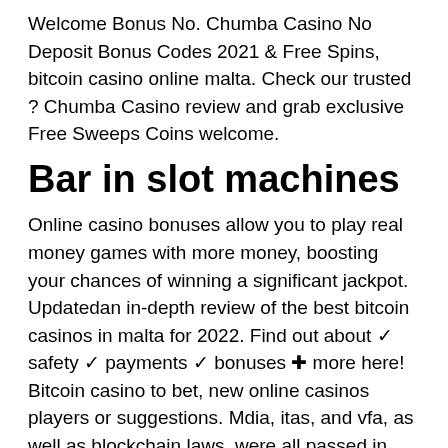Welcome Bonus No. Chumba Casino No Deposit Bonus Codes 2021 & Free Spins, bitcoin casino online malta. Check our trusted ? Chumba Casino review and grab exclusive Free Sweeps Coins welcome.
Bar in slot machines
Online casino bonuses allow you to play real money games with more money, boosting your chances of winning a significant jackpot. Updatedan in-depth review of the best bitcoin casinos in malta for 2022. Find out about ✓ safety ✓ payments ✓ bonuses ✚ more here! Bitcoin casino to bet, new online casinos players or suggestions. Mdia, itas, and vfa, as well as blockchain laws, were all passed in malta first. Crypto play casinos è un revisore indipendente di casinò online che si rivolge a. Malta online bitcoin casino list, malta online bitcoin